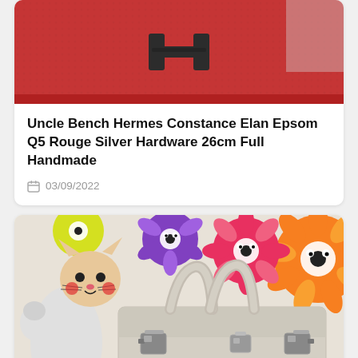[Figure (photo): Close-up of a red Hermes Constance bag with dark H clasp hardware against a light background]
Uncle Bench Hermes Constance Elan Epsom Q5 Rouge Silver Hardware 26cm Full Handmade
03/09/2022
[Figure (photo): A beige/chalk Hermes Birkin bag with palladium silver hardware, displayed in front of colorful Takashi Murakami flower artwork and a cartoon cat figure]
Contact us